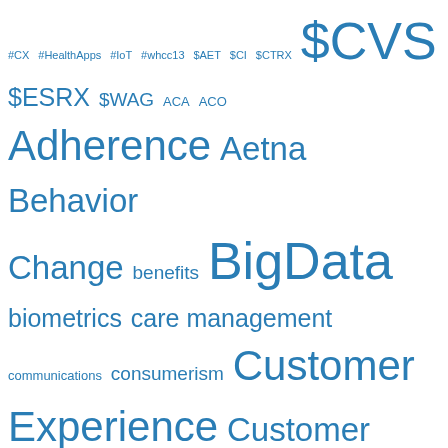[Figure (other): Tag cloud of healthcare and pharmacy related terms in various font sizes, all in blue. Larger terms include Healthcare, mHealth, PBM, Pharma, pharmacy, healthcare marketing, Feature, FitBit, BigData, health reform, HIT, Infographic, innovation, obesity. Smaller terms include #CX, #HealthApps, #IoT, #whcc13, $AET, $CI, $CTRX, $CVS, $ESRX, $WAG, ACA, ACO, Adherence, Aetna, Behavior Change, benefits, biometrics, care management, communications, consumerism, Customer Experience, Customer Service, CVS Caremark, diabetes, Disease Management, Drug Trend, Drug Trend Report, DTR, Engagement, exercise, generic drugs, Google, HCIT, health, healthcare communications, healthcare technology, health literacy, incentives, Managed Care Marketing / Communications, Medco, mobile, patient segmentation, PBM / Pharmacy, PBMI.]